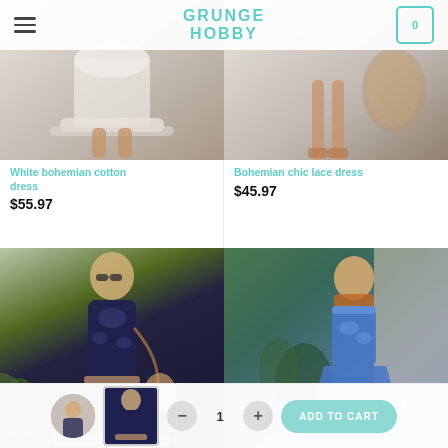GRUNGE HOBBY
[Figure (photo): White bohemian cotton dress product photo]
White bohemian cotton dress
$55.97
[Figure (photo): Bohemian chic lace dress product photo]
Bohemian chic lace dress
$45.97
[Figure (photo): Bohemian print maxi dress in dark navy]
[Figure (photo): Blue bohemian short dress leaning on wall]
ADD TO CART — quantity selector 1